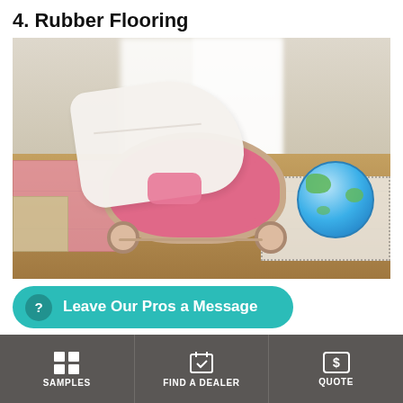4. Rubber Flooring
[Figure (photo): Photo of a pink baby bouncer/rocker with a white blanket draped over it, sitting on a wooden floor. A pink foam play mat is visible on the left, a white dotted rubber mat is on the right, and a blue globe sits in the background right. White curtains are in the background.]
Rubber flooring by Centaur Floors, can also offer wonderful kid-friendly
[Figure (other): Teal rounded popup bar with a question mark icon and text 'Leave Our Pros a Message']
SAMPLES   FIND A DEALER   QUOTE